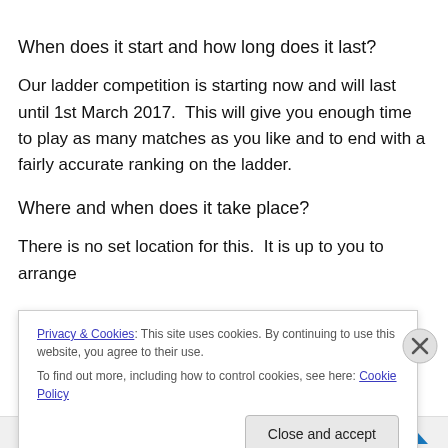When does it start and how long does it last?
Our ladder competition is starting now and will last until 1st March 2017.  This will give you enough time to play as many matches as you like and to end with a fairly accurate ranking on the ladder.
Where and when does it take place?
There is no set location for this.  It is up to you to arrange
Privacy & Cookies: This site uses cookies. By continuing to use this website, you agree to their use.
To find out more, including how to control cookies, see here: Cookie Policy
Close and accept